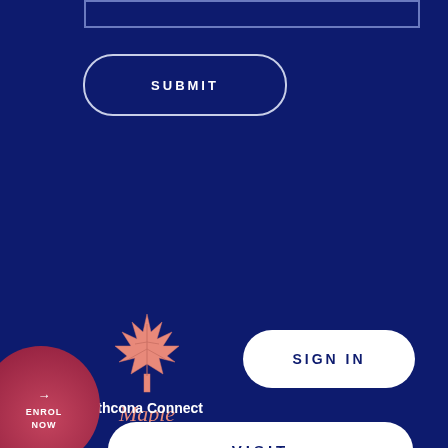[Figure (screenshot): Input text field at top of screen with navy border on dark blue background]
SUBMIT
[Figure (logo): Maple leaf logo in salmon/pink color with 'Maple' text beneath in italic pink]
SIGN IN
Strathcona Connect
VISIT
→ ENROL NOW